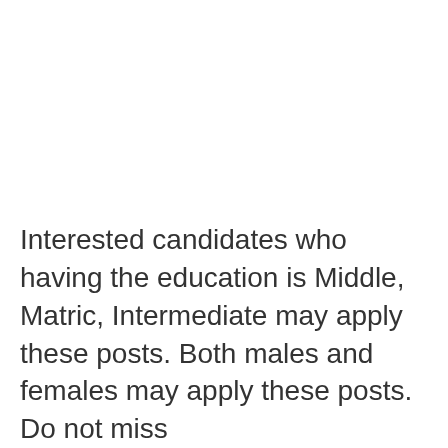Interested candidates who having the education is Middle, Matric, Intermediate may apply these posts. Both males and females may apply these posts. Do not miss